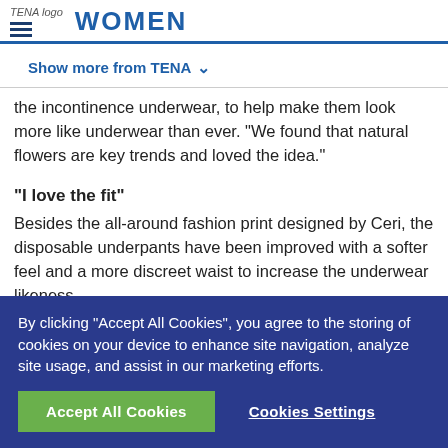TENA logo  WOMEN
Show more from TENA
the incontinence underwear, to help make them look more like underwear than ever. "We found that natural flowers are key trends and loved the idea."
"I love the fit"
Besides the all-around fashion print designed by Ceri, the disposable underpants have been improved with a softer feel and a more discreet waist to increase the underwear likeness.
By clicking “Accept All Cookies”, you agree to the storing of cookies on your device to enhance site navigation, analyze site usage, and assist in our marketing efforts.
Accept All Cookies   Cookies Settings